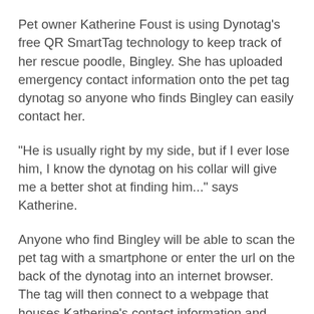Pet owner Katherine Foust is using Dynotag's free QR SmartTag technology to keep track of her rescue poodle, Bingley.  She has uploaded emergency contact information onto the pet tag dynotag so anyone who finds Bingley can easily contact her.
“He is usually right by my side, but if I ever lose him, I know the dynotag on his collar will give me a better shot at finding him...” says Katherine.
Anyone who find Bingley will be able to scan the pet tag with a smartphone or enter the url on the back of the dynotag into an internet browser.  The tag will then connect to a webpage that houses Katherine’s contact information and information about Bingley.
“This is such a technically savvy form of pet identification, andit is a non-invasive way of making his